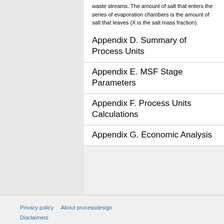waste streams. The amount of salt that enters the series of evaporation chambers is the amount of salt that leaves (X is the salt mass fraction).
Appendix D. Summary of Process Units
Appendix E. MSF Stage Parameters
Appendix F. Process Units Calculations
Appendix G. Economic Analysis
Privacy policy   About processdesign   Disclaimers